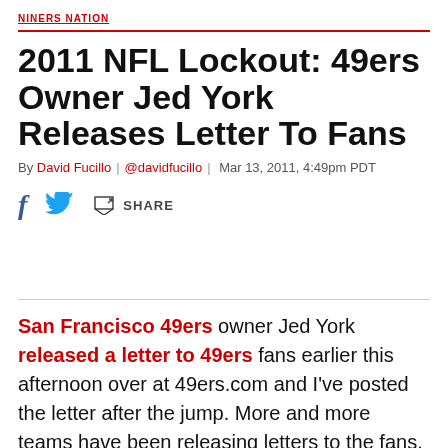NINERS NATION
2011 NFL Lockout: 49ers Owner Jed York Releases Letter To Fans
By David Fucillo | @davidfucillo | Mar 13, 2011, 4:49pm PDT
[Figure (other): Social share bar with Facebook, Twitter, and Share icons]
San Francisco 49ers owner Jed York released a letter to 49ers fans earlier this afternoon over at 49ers.com and I've posted the letter after the jump. More and more teams have been releasing letters to the fans. This particular letter is fairly balanced and doesn't antagonize anybody, which is certainly a start